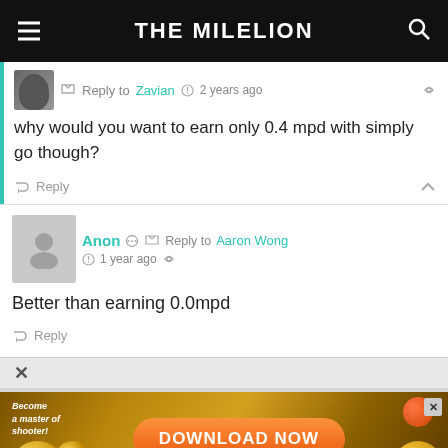THE MILELION
Reply to Zavian · 2 years ago
why would you want to earn only 0.4 mpd with simply go though?
Reply
Anon · Reply to Aaron Wong · 1 year ago
Better than earning 0.0mpd
Reply
[Figure (screenshot): Advertisement banner with 'Become a master of shooter!' text and a DOWNLOAD NOW button on a golden/brown background]